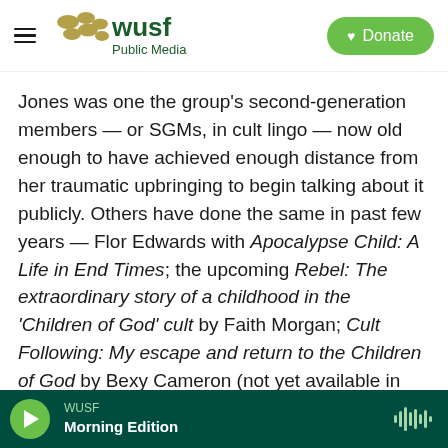WUSF Public Media | Donate
Jones was one the group's second-generation members — or SGMs, in cult lingo — now old enough to have achieved enough distance from her traumatic upbringing to begin talking about it publicly. Others have done the same in past few years — Flor Edwards with Apocalypse Child: A Life in End Times; the upcoming Rebel: The extraordinary story of a childhood in the 'Children of God' cult by Faith Morgan; Cult Following: My escape and return to the Children of God by Bexy Cameron (not yet available in the U.S.); and Lauren Hough's Leaving Isn't the Hardest Thing, which, as |
WUSF | Morning Edition